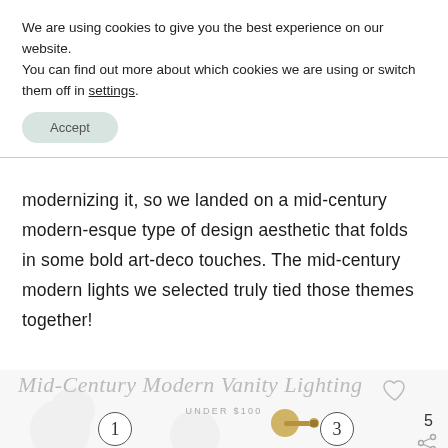We are using cookies to give you the best experience on our website.
You can find out more about which cookies we are using or switch them off in settings.
Accept
modernizing it, so we landed on a mid-century modern-esque type of design aesthetic that folds in some bold art-deco touches. The mid-century modern lights we selected truly tied those themes together!
[Figure (infographic): Mid-Century Modern Vanity Lighting Under $100 - decorative script title with numbered product images (1, 3 visible), a brass wall sconce fixture, heart/save icon, share icon, and number 5.]